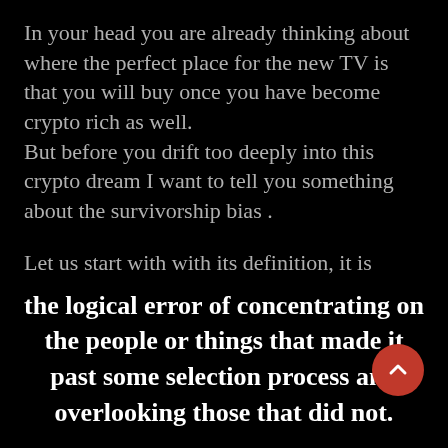In your head you are already thinking about where the perfect place for the new TV is that you will buy once you have become crypto rich as well. But before you drift too deeply into this crypto dream I want to tell you something about the survivorship bias .
Let us start with with its definition, it is
the logical error of concentrating on the people or things that made it past some selection process and overlooking those that did not.